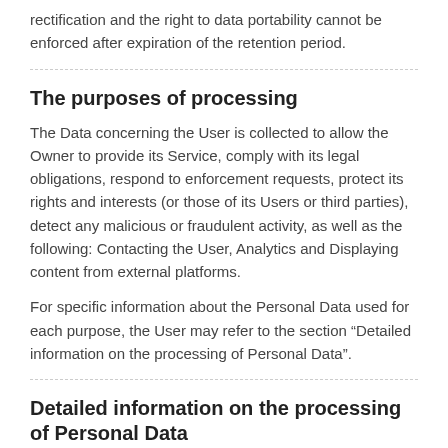rectification and the right to data portability cannot be enforced after expiration of the retention period.
The purposes of processing
The Data concerning the User is collected to allow the Owner to provide its Service, comply with its legal obligations, respond to enforcement requests, protect its rights and interests (or those of its Users or third parties), detect any malicious or fraudulent activity, as well as the following: Contacting the User, Analytics and Displaying content from external platforms.
For specific information about the Personal Data used for each purpose, the User may refer to the section “Detailed information on the processing of Personal Data”.
Detailed information on the processing of Personal Data
Personal Data is collected for the following purposes and using the following services: